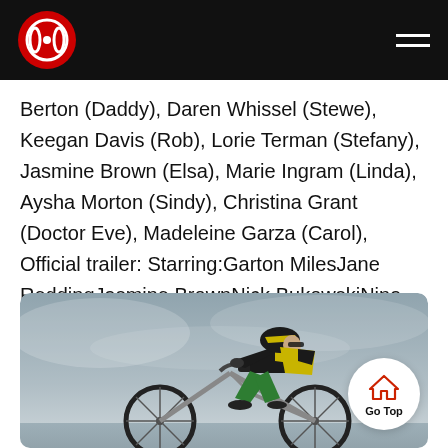Header bar with logo and hamburger menu
Berton (Daddy), Daren Whissel (Stewe), Keegan Davis (Rob), Lorie Terman (Stefany), Jasmine Brown (Elsa), Marie Ingram (Linda), Aysha Morton (Sindy), Christina Grant (Doctor Eve), Madeleine Garza (Carol), Official trailer: Starring:Garton MilesJane ReddingJasmine BrownNick BukowskiNina SolomonGallery:
[Figure (photo): A cyclist in a black and yellow jersey leaning over handlebars of a mountain bike, photographed from the side against a cloudy sky background.]